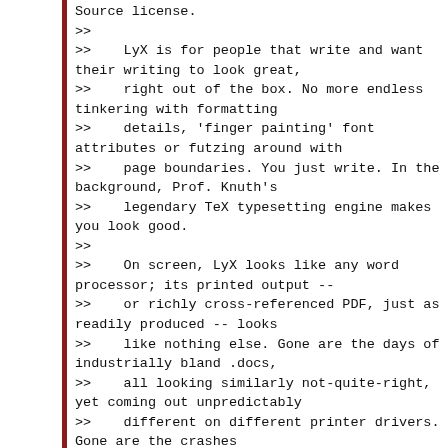Source license.
>>
>>    LyX is for people that write and want their writing to look great,
>>    right out of the box. No more endless tinkering with formatting
>>    details, 'finger painting' font attributes or futzing around with
>>    page boundaries. You just write. In the background, Prof. Knuth's
>>    legendary TeX typesetting engine makes you look good.
>>
>>    On screen, LyX looks like any word processor; its printed output --
>>    or richly cross-referenced PDF, just as readily produced -- looks
>>    like nothing else. Gone are the days of industrially bland .docs,
>>    all looking similarly not-quite-right, yet coming out unpredictably
>>    different on different printer drivers. Gone are the crashes
>>    'eating' your dissertation the evening